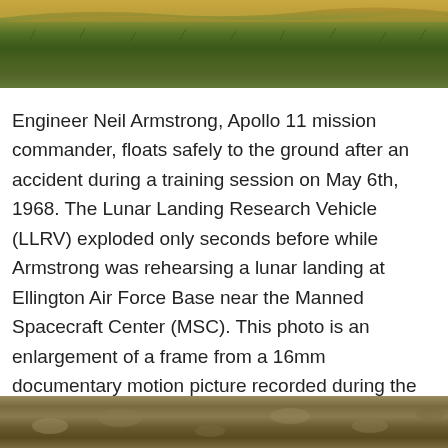[Figure (photo): Top portion of outdoor photograph showing a grassy/brushy field with a sandy or light-colored ridge or berm in the upper portion, green vegetation below.]
Engineer Neil Armstrong, Apollo 11 mission commander, floats safely to the ground after an accident during a training session on May 6th, 1968. The Lunar Landing Research Vehicle (LLRV) exploded only seconds before while Armstrong was rehearsing a lunar landing at Ellington Air Force Base near the Manned Spacecraft Center (MSC). This photo is an enlargement of a frame from a 16mm documentary motion picture recorded during the mishap. (NASA)
[Figure (photo): Bottom portion of outdoor photograph showing rocky or sandy ground with scattered debris or vegetation.]